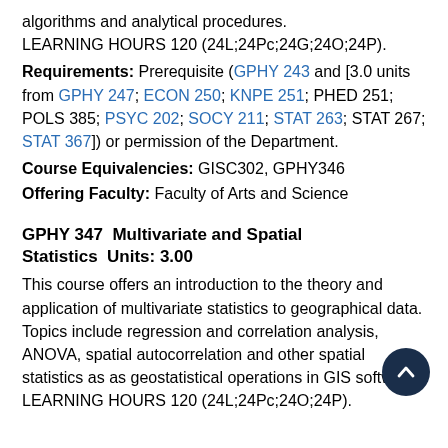algorithms and analytical procedures. LEARNING HOURS 120 (24L;24Pc;24G;24O;24P).
Requirements: Prerequisite (GPHY 243 and [3.0 units from GPHY 247; ECON 250; KNPE 251; PHED 251; POLS 385; PSYC 202; SOCY 211; STAT 263; STAT 267; STAT 367]) or permission of the Department.
Course Equivalencies: GISC302, GPHY346
Offering Faculty: Faculty of Arts and Science
GPHY 347  Multivariate and Spatial Statistics  Units: 3.00
This course offers an introduction to the theory and application of multivariate statistics to geographical data. Topics include regression and correlation analysis, ANOVA, spatial autocorrelation and other spatial statistics as as geostatistical operations in GIS software. LEARNING HOURS 120 (24L;24Pc;24O;24P).